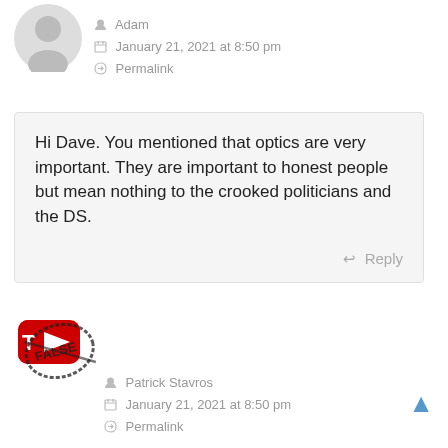[Figure (illustration): Gray default user avatar silhouette icon]
Adam
January 21, 2021 at 8:50 pm
Permalink
Hi Dave. You mentioned that optics are very important. They are important to honest people but mean nothing to the crooked politicians and the DS.
Reply
[Figure (logo): YouTube logo with a stamp/censored overlay graphic]
Patrick Stavros
January 21, 2021 at 8:50 pm
Permalink